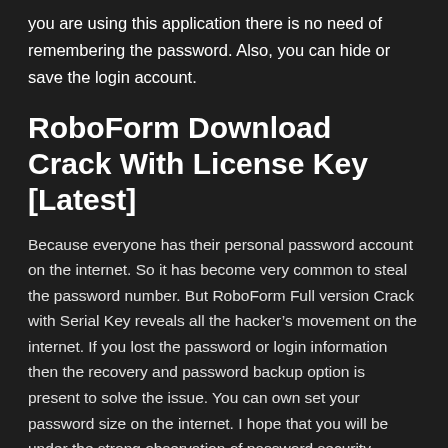you are using this application there is no need of remembering the password. Also, you can hide or save the login account.
RoboForm Download Crack With License Key [Latest]
Because everyone has their personal password account on the internet. So it has become very common to steal the password number. But RoboForm Full version Crack with Serial Key reveals all the hacker's movement on the internet. If you lost the password or login information then the recovery and password backup option is present to solve the issue. You can own set your password size on the internet. I hope that you will be under the strong observation of password security.